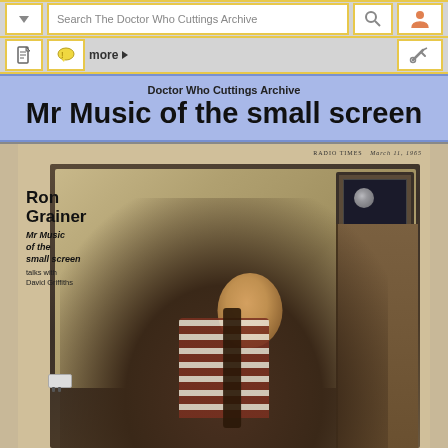Search The Doctor Who Cuttings Archive
Doctor Who Cuttings Archive
Mr Music of the small screen
[Figure (photo): Magazine page from Radio Times (March 11, 1965) showing Ron Grainer seated casually in a room with a television set visible in the upper right. Text overlay reads: Ron Grainer Mr Music of the small screen talks with David Griffiths]